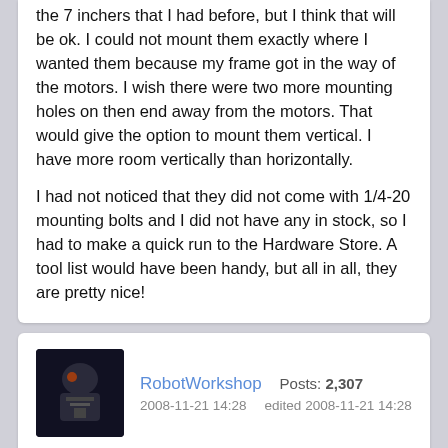the 7 inchers that I had before, but I think that will be ok. I could not mount them exactly where I wanted them because my frame got in the way of the motors. I wish there were two more mounting holes on then end away from the motors. That would give the option to mount them vertical. I have more room vertically than horizontally.
I had not noticed that they did not come with 1/4-20 mounting bolts and I did not have any in stock, so I had to make a quick run to the Hardware Store. A tool list would have been handy, but all in all, they are pretty nice!
RobotWorkshop   Posts: 2,307
2008-11-21 14:28   edited 2008-11-21 14:28
The black tires are pretty cool but I just found some non-marking gray tires that look like they will fit these rims. Check out the link below:
http://www.quickie-